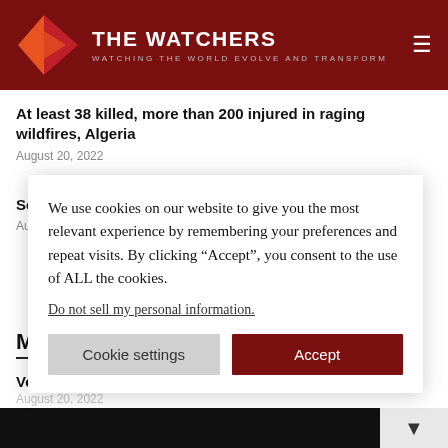THE WATCHERS — WATCHING THE WORLD EVOLVE AND TRANSFORM
At least 38 killed, more than 200 injured in raging wildfires, Algeria
August 20, 2022
Severe thunderstorms hit Austria, claiming 5 lives
August 19, 2022
Multimedia
Very large watersp
We use cookies on our website to give you the most relevant experience by remembering your preferences and repeat visits. By clicking "Accept", you consent to the use of ALL the cookies.
Do not sell my personal information.